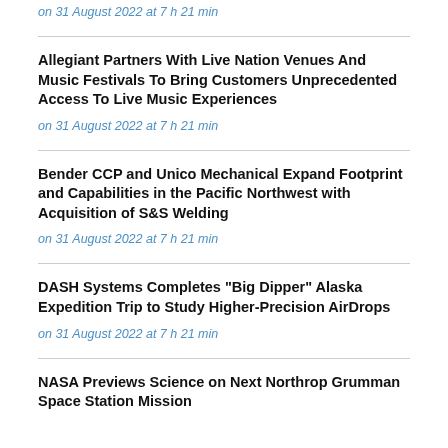on 31 August 2022 at 7 h 21 min
Allegiant Partners With Live Nation Venues And Music Festivals To Bring Customers Unprecedented Access To Live Music Experiences
on 31 August 2022 at 7 h 21 min
Bender CCP and Unico Mechanical Expand Footprint and Capabilities in the Pacific Northwest with Acquisition of S&S Welding
on 31 August 2022 at 7 h 21 min
DASH Systems Completes "Big Dipper" Alaska Expedition Trip to Study Higher-Precision AirDrops
on 31 August 2022 at 7 h 21 min
NASA Previews Science on Next Northrop Grumman Space Station Mission